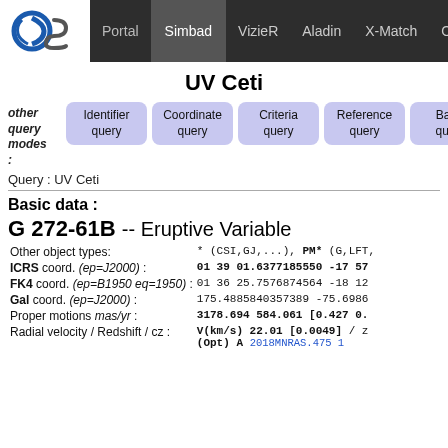Portal | Simbad | VizieR | Aladin | X-Match | Othe
UV Ceti
other query modes:
Identifier query | Coordinate query | Criteria query | Reference query | Basic query
Query : UV Ceti
Basic data :
G 272-61B -- Eruptive Variable
| Label | Value |
| --- | --- |
| Other object types: | * (CSI,GJ,...), PM* (G,LFT, |
| ICRS coord. (ep=J2000) : | 01 39 01.6377185550 -17 57 |
| FK4 coord. (ep=B1950 eq=1950) : | 01 36 25.7576874564 -18 12 |
| Gal coord. (ep=J2000) : | 175.4885840357389 -75.6986 |
| Proper motions mas/yr : | 3178.694 584.061 [0.427 0. |
| Radial velocity / Redshift / cz : | V(km/s) 22.01 [0.0049] / z (Opt) A 2018MNRAS.475 1 |